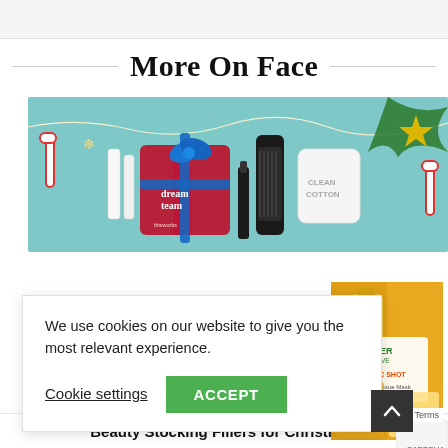More On Face
[Figure (photo): Christmas beauty products banner: skincare tubes, a red gift-wrapped 'dream team' product by thisworks with blue ribbon, a hair brush, a white 'Clean Cotton' candle jar, candy canes, gold stars, fairy lights and pine branches on a teal/light blue background.]
We use cookies on our website to give you the most relevant experience.
Cookie settings     ACCEPT
[Figure (photo): Garnier SkinActive Vitamin C Shot Fresh-Mix Tissue Mask product packaging and bottle, orange/yellow tones.]
Beauty Stocking Fillers for Christmas